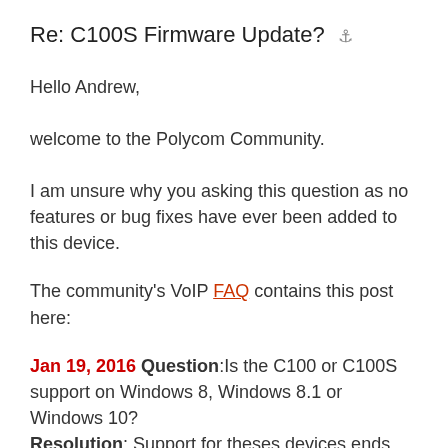Re: C100S Firmware Update?
Hello Andrew,
welcome to the Polycom Community.
I am unsure why you asking this question as no features or bug fixes have ever been added to this device.
The community's VoIP FAQ contains this post here:
Jan 19, 2016 Question:Is the C100 or C100S support on Windows 8, Windows 8.1 or Windows 10? Resolution: Support for theses devices ends with Windows 7
The above should also answer any follow up question in